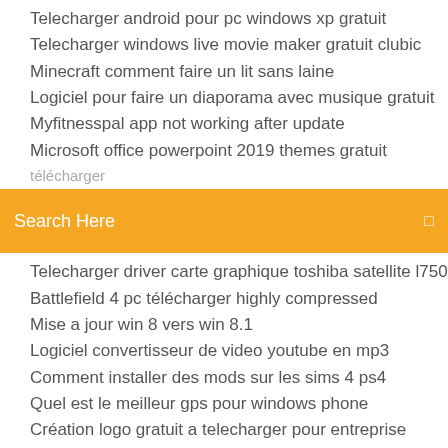Telecharger android pour pc windows xp gratuit
Telecharger windows live movie maker gratuit clubic
Minecraft comment faire un lit sans laine
Logiciel pour faire un diaporama avec musique gratuit
Myfitnesspal app not working after update
Microsoft office powerpoint 2019 themes gratuit télécharger
[Figure (screenshot): Orange/yellow search bar with text 'Search Here' and a search icon on the right]
Telecharger driver carte graphique toshiba satellite l750
Battlefield 4 pc télécharger highly compressed
Mise a jour win 8 vers win 8.1
Logiciel convertisseur de video youtube en mp3
Comment installer des mods sur les sims 4 ps4
Quel est le meilleur gps pour windows phone
Création logo gratuit a telecharger pour entreprise
Peut on passer de vista à windows 10
How to kill a stickman games online
Comment regarder canal + sur son pc